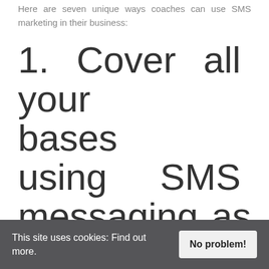Here are seven unique ways coaches can use SMS marketing in their business:
1. Cover all your bases using SMS messaging as a benchmark
Let's face it; everyone has a mobile phone. And no matter where they are or what they're doing, they can receive
This site uses cookies: Find out more. No problem!